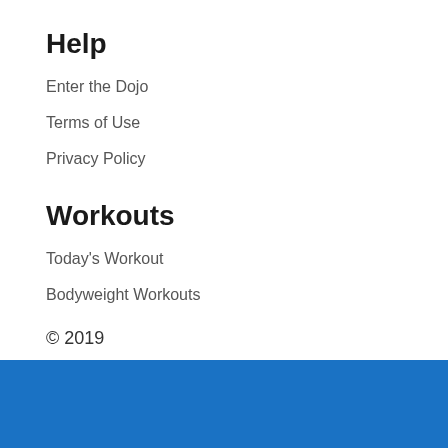Help
Enter the Dojo
Terms of Use
Privacy Policy
Workouts
Today's Workout
Bodyweight Workouts
© 2019